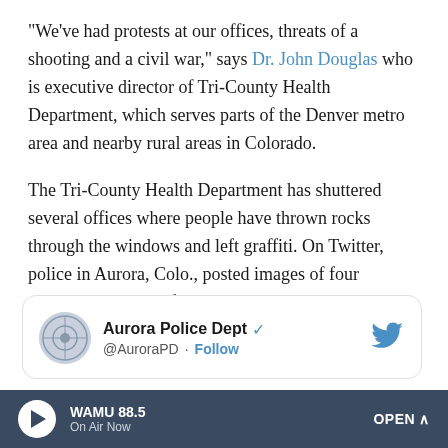"We've had protests at our offices, threats of a shooting and a civil war," says Dr. John Douglas who is executive director of Tri-County Health Department, which serves parts of the Denver metro area and nearby rural areas in Colorado.
The Tri-County Health Department has shuttered several offices where people have thrown rocks through the windows and left graffiti. On Twitter, police in Aurora, Colo., posted images of four separate incidents of vandalism against the Health Department in April and May, and asked the public for help in identifying suspects.
[Figure (screenshot): Embedded tweet from Aurora Police Dept (@AuroraPD) with Follow button and Twitter bird logo]
[Figure (other): WAMU 88.5 audio player bar - On Air Now - OPEN button]